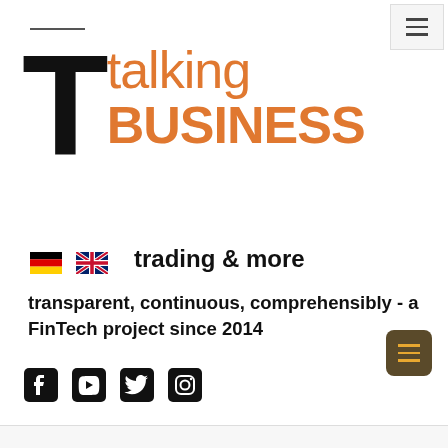[Figure (logo): Talking Business logo: large bold black T with orange 'talking BUSINESS' text beside it, and 'trading & more' subtitle]
[Figure (other): German flag and UK/British flag icons for language selection]
transparent, continuous, comprehensibly - a FinTech project since 2014
[Figure (other): Social media icons: Facebook, YouTube, Twitter, Instagram]
[Figure (other): Floating hamburger menu button (dark brown/gold)]